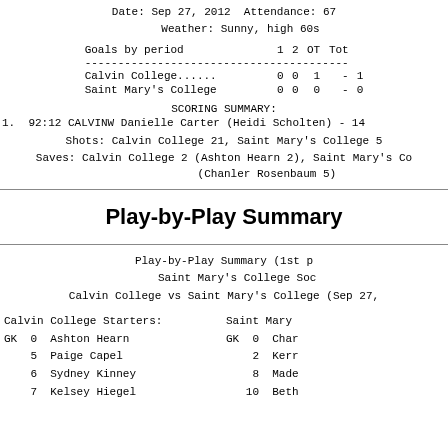Date: Sep 27, 2012  Attendance: 67
     Weather: Sunny, high 60s
| Goals by period | 1 | 2 | OT | Tot |
| --- | --- | --- | --- | --- |
| Calvin College...... | 0 | 0 | 1 | - | 1 |
| Saint Mary's College | 0 | 0 | 0 | - | 0 |
SCORING SUMMARY:
1.  92:12 CALVINW Danielle Carter (Heidi Scholten) - 14
Shots: Calvin College 21, Saint Mary's College 5
Saves: Calvin College 2 (Ashton Hearn 2), Saint Mary's Co...
(Chanler Rosenbaum 5)
Play-by-Play Summary
Play-by-Play Summary (1st p
Saint Mary's College Soc
Calvin College vs Saint Mary's College (Sep 27,
Calvin College Starters:
GK  0  Ashton Hearn
    5  Paige Capel
    6  Sydney Kinney
    7  Kelsey Hiegel
Saint Mary
GK  0  Char
    2  Kerr
    8  Made
   10  Bet